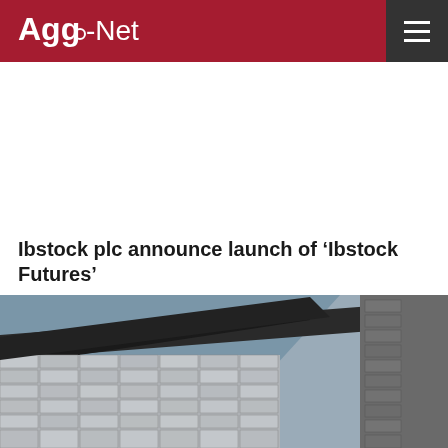Agg-Net
Ibstock plc announce launch of ‘Ibstock Futures’
[Figure (photo): Close-up photograph of a modern brick building facade showing geometric brick patterns with metallic or glazed elements, viewed from below at an angle against a blue-grey sky.]